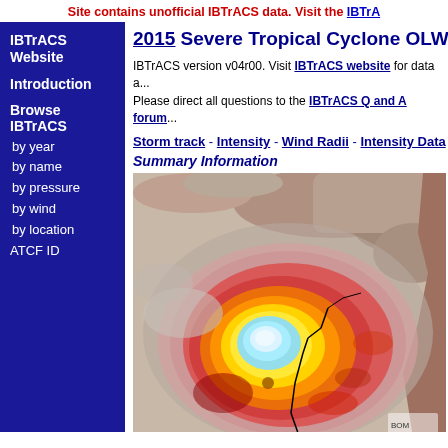Site contains unofficial IBTrACS data. Visit the IBTrA...
2015 Severe Tropical Cyclone OLWYN (20...
IBTrACS version v04r00. Visit IBTrACS website for data a... Please direct all questions to the IBTrACS Q and A forum...
Storm track - Intensity - Wind Radii - Intensity Data - So...
Summary Information
[Figure (photo): Satellite infrared image of Severe Tropical Cyclone OLWYN showing a well-defined cyclone eye with colorful banding in orange, red, yellow, and blue colors over ocean near coastline.]